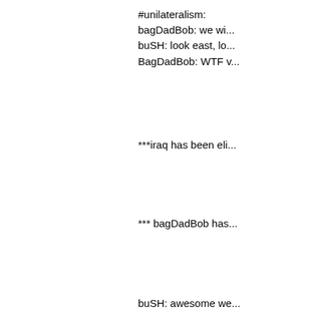#unilateralism:
bagDadBob: we wi...
buSH: look east, lo...
BagDadBob: WTF v...
***iraq has been eli...
*** bagDadBob has...
buSH: awesome we...
***buSH cheers
***buSH does a da...
#occupation
****GENgarner has...
****GENgarner has...
****pBremer has joi...
pBremer: cool I hav...
*** zarCOWI has joi...
zarCOWI: we have...
pBremer: us too
zarCOWI: we strap...